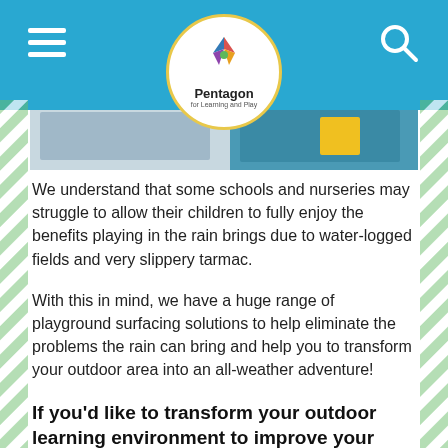Pentagon for Learning and Play
[Figure (photo): Partial view of a photo strip showing outdoor/playground related imagery]
We understand that some schools and nurseries may struggle to allow their children to fully enjoy the benefits playing in the rain brings due to water-logged fields and very slippery tarmac.
With this in mind, we have a huge range of playground surfacing solutions to help eliminate the problems the rain can bring and help you to transform your outdoor area into an all-weather adventure!
If you'd like to transform your outdoor learning environment to improve your children's educational play experience, please Contact Us for a free, no-obligation consultation with one of...